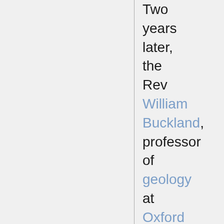Two years later, the Rev William Buckland, professor of geology at Oxford University, became the first